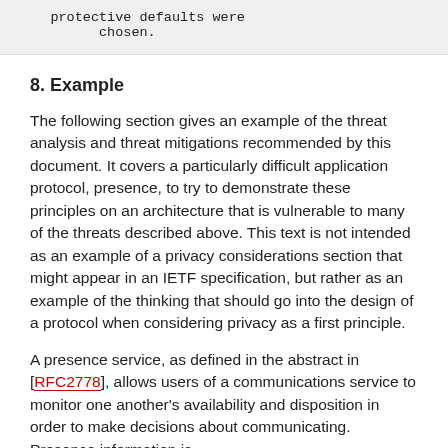protective defaults were
      chosen.
8. Example
The following section gives an example of the threat analysis and threat mitigations recommended by this document. It covers a particularly difficult application protocol, presence, to try to demonstrate these principles on an architecture that is vulnerable to many of the threats described above. This text is not intended as an example of a privacy considerations section that might appear in an IETF specification, but rather as an example of the thinking that should go into the design of a protocol when considering privacy as a first principle.
A presence service, as defined in the abstract in [RFC2778], allows users of a communications service to monitor one another's availability and disposition in order to make decisions about communicating. Presence information is